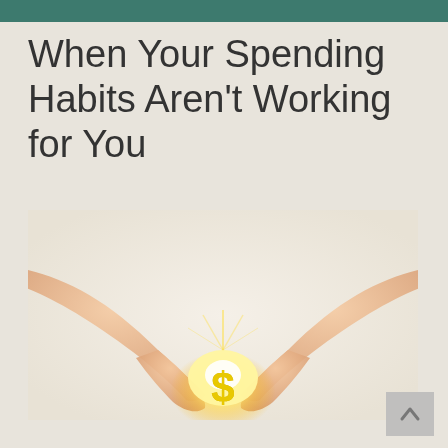When Your Spending Habits Aren't Working for You
[Figure (illustration): Two hands forming a heart shape with glowing golden light and a yellow dollar sign symbol at the center, against a warm cream/beige background.]